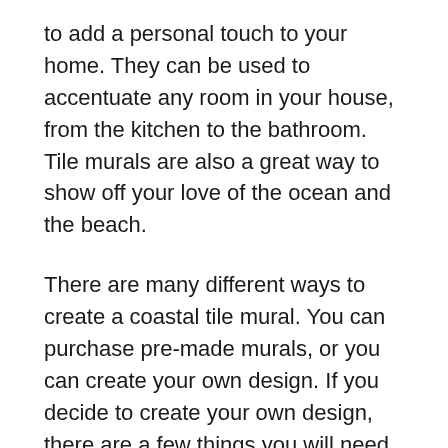to add a personal touch to your home. They can be used to accentuate any room in your house, from the kitchen to the bathroom. Tile murals are also a great way to show off your love of the ocean and the beach.
There are many different ways to create a coastal tile mural. You can purchase pre-made murals, or you can create your own design. If you decide to create your own design, there are a few things you will need to keep in mind.
First, you need to choose the right tile. There are many different types of tile, so it is important to select the one that will best suit your needs. Second, you need to determine the size of the